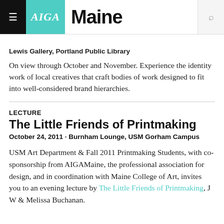AIGA Maine
Lewis Gallery, Portland Public Library
On view through October and November. Experience the identity work of local creatives that craft bodies of work designed to fit into well-considered brand hierarchies.
LECTURE
The Little Friends of Printmaking
October 24, 2011 · Burnham Lounge, USM Gorham Campus
USM Art Department & Fall 2011 Printmaking Students, with co-sponsorship from AIGAMaine, the professional association for design, and in coordination with Maine College of Art, invites you to an evening lecture by The Little Friends of Printmaking, J W & Melissa Buchanan.